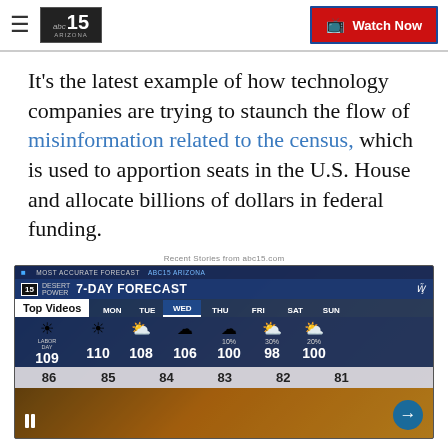abc15 ARIZONA — Watch Now
It's the latest example of how technology companies are trying to staunch the flow of misinformation related to the census, which is used to apportion seats in the U.S. House and allocate billions of dollars in federal funding.
Recent Stories from abc15.com
[Figure (screenshot): ABC15 Arizona 7-Day Forecast video thumbnail showing Top Videos label and weather forecast with high temperatures: MON 109, TUE 110, WED 108, THU 106, FRI 100 (10%), SAT 98 (30%), SUN 100 (20%), and low temperatures: 86, 85, 84, 83, 82, 81]